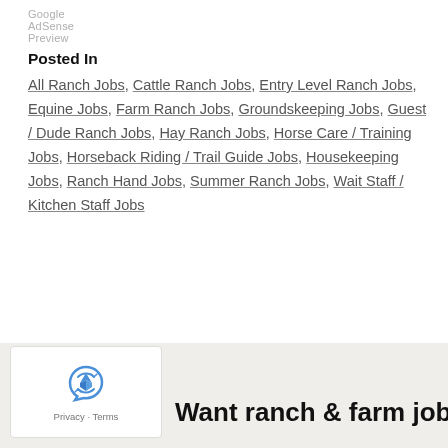Google AdSense Preview
Posted In
All Ranch Jobs, Cattle Ranch Jobs, Entry Level Ranch Jobs, Equine Jobs, Farm Ranch Jobs, Groundskeeping Jobs, Guest / Dude Ranch Jobs, Hay Ranch Jobs, Horse Care / Training Jobs, Horseback Riding / Trail Guide Jobs, Housekeeping Jobs, Ranch Hand Jobs, Summer Ranch Jobs, Wait Staff / Kitchen Staff Jobs
[Figure (logo): reCAPTCHA logo with Privacy and Terms text]
Want ranch & farm jobs